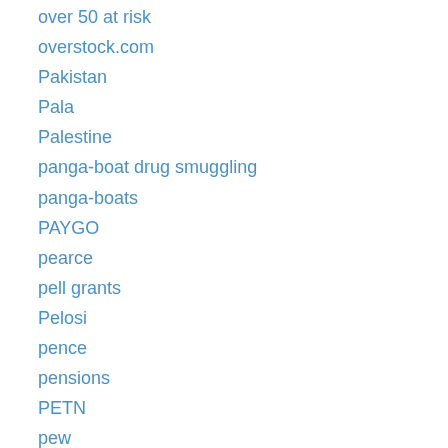over 50 at risk
overstock.com
Pakistan
Pala
Palestine
panga-boat drug smuggling
panga-boats
PAYGO
pearce
pell grants
Pelosi
pence
pensions
PETN
pew
Pinal County
Pinal County Sheriff Babeu
Pink Hot Dog
pink slip
pledge to america